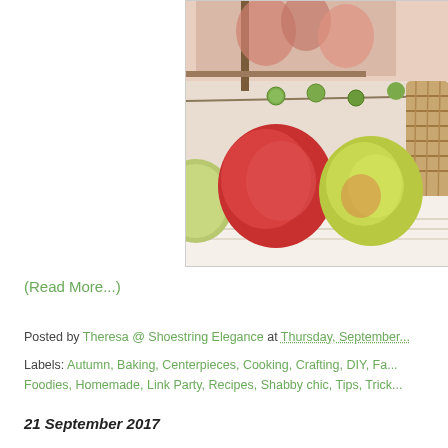[Figure (photo): Autumn still life photograph showing red and yellow-green apples on a striped cloth, with a wicker basket, green burr seed pods, dried branches, and a framed floral print in the background.]
(Read More...)
Posted by Theresa @ Shoestring Elegance at Thursday, September...
Labels: Autumn, Baking, Centerpieces, Cooking, Crafting, DIY, Fa... Foodies, Homemade, Link Party, Recipes, Shabby chic, Tips, Trick...
21 September 2017